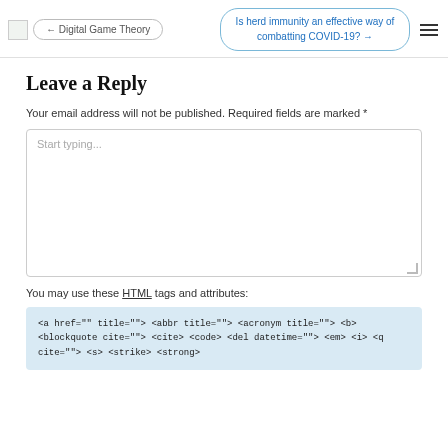← Digital Game Theory | Is herd immunity an effective way of combatting COVID-19? →
Leave a Reply
Your email address will not be published. Required fields are marked *
Start typing...
You may use these HTML tags and attributes:
<a href="" title=""> <abbr title=""> <acronym title=""> <b> <blockquote cite=""> <cite> <code> <del datetime=""> <em> <i> <q cite=""> <s> <strike> <strong>